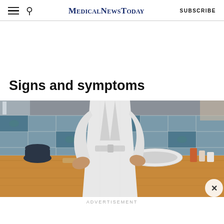MedicalNewsToday SUBSCRIBE
Signs and symptoms
[Figure (photo): Person in white bathrobe standing in a bathroom, hands on lower back suggesting back pain, with wooden vanity, blue patterned tiles, and toiletries visible in the background.]
ADVERTISEMENT